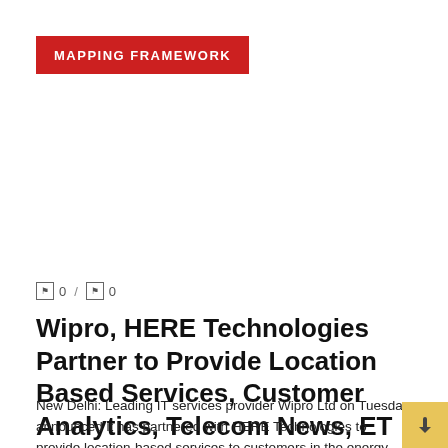MAPPING FRAMEWORK
0 / 0
Wipro, HERE Technologies Partner to Provide Location Based Services, Customer Analytics, Telecom News, ET Telecom
New Delhi: Leading IT services provider Wipro Ltd on Tuesday announced it has partnered with HERE Technologies to provide location-based services to customers in the energy ...